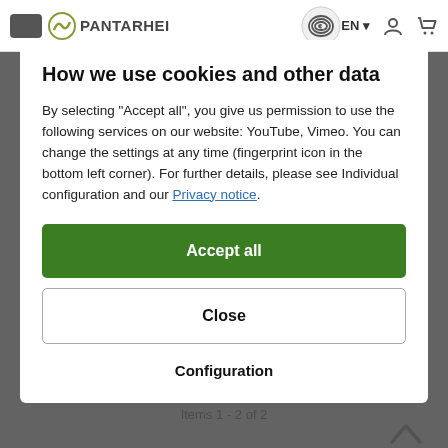[Figure (screenshot): Website navigation bar with hamburger menu, Pantarhei logo, fingerprint icon, EN language selector, user icon, and cart icon]
How we use cookies and other data
By selecting "Accept all", you give us permission to use the following services on our website: YouTube, Vimeo. You can change the settings at any time (fingerprint icon in the bottom left corner). For further details, please see Individual configuration and our Privacy notice.
Accept all
Close
Configuration
Items 1 - 2 of 2